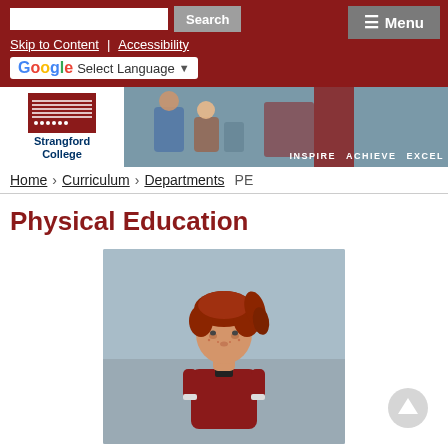Search | Skip to Content | Accessibility | Menu | Select Language
[Figure (logo): Strangford College logo with text 'Strangford College' and motto 'INSPIRE ACHIEVE EXCEL' on dark red banner with classroom photo]
Home > Curriculum > Departments > PE
Physical Education
[Figure (photo): Young student with red/auburn hair wearing a dark red sports jersey, photographed outdoors against an overcast sky]